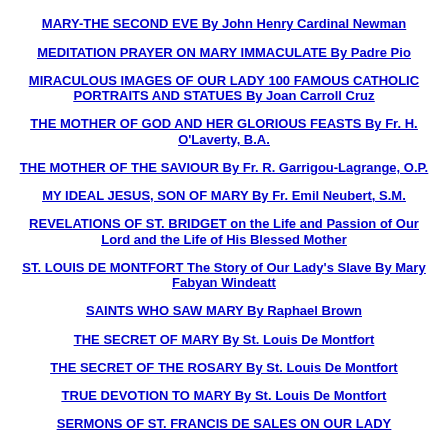MARY-THE SECOND EVE By John Henry Cardinal Newman
MEDITATION PRAYER ON MARY IMMACULATE By Padre Pio
MIRACULOUS IMAGES OF OUR LADY 100 FAMOUS CATHOLIC PORTRAITS AND STATUES By Joan Carroll Cruz
THE MOTHER OF GOD AND HER GLORIOUS FEASTS By Fr. H. O'Laverty, B.A.
THE MOTHER OF THE SAVIOUR By Fr. R. Garrigou-Lagrange, O.P.
MY IDEAL JESUS, SON OF MARY By Fr. Emil Neubert, S.M.
REVELATIONS OF ST. BRIDGET on the Life and Passion of Our Lord and the Life of His Blessed Mother
ST. LOUIS DE MONTFORT The Story of Our Lady's Slave By Mary Fabyan Windeatt
SAINTS WHO SAW MARY By Raphael Brown
THE SECRET OF MARY By St. Louis De Montfort
THE SECRET OF THE ROSARY By St. Louis De Montfort
TRUE DEVOTION TO MARY By St. Louis De Montfort
SERMONS OF ST. FRANCIS DE SALES ON OUR LADY